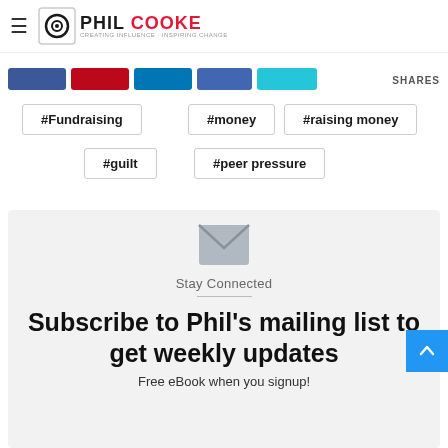Phil Cooke - Creating Influence · Inspiring Change
#Fundraising
#money
#raising money
#guilt
#peer pressure
Stay Connected
Subscribe to Phil's mailing list to get weekly updates
Free eBook when you signup!